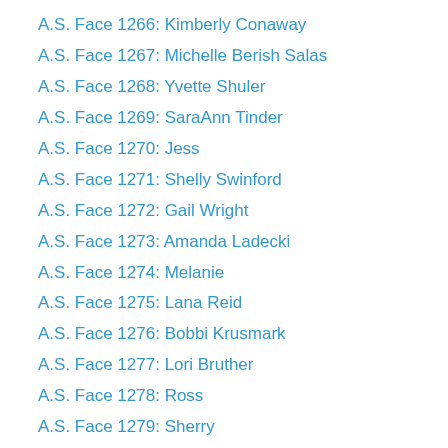A.S. Face 1266: Kimberly Conaway
A.S. Face 1267: Michelle Berish Salas
A.S. Face 1268: Yvette Shuler
A.S. Face 1269: SaraAnn Tinder
A.S. Face 1270: Jess
A.S. Face 1271: Shelly Swinford
A.S. Face 1272: Gail Wright
A.S. Face 1273: Amanda Ladecki
A.S. Face 1274: Melanie
A.S. Face 1275: Lana Reid
A.S. Face 1276: Bobbi Krusmark
A.S. Face 1277: Lori Bruther
A.S. Face 1278: Ross
A.S. Face 1279: Sherry
A.S. Face 1280: Denise Burns
A.S. Face 1281: Terri Pawlak
A.S. Face 1282: Kelly Fletcher
A.S. Face 1283: Becky O'Gorman
A.S. Face 1284: Patia Smith
A.S. Face 1285: Connie Main